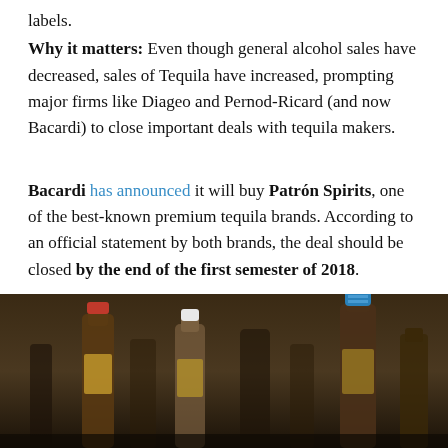labels.
Why it matters: Even though general alcohol sales have decreased, sales of Tequila have increased, prompting major firms like Diageo and Pernod-Ricard (and now Bacardi) to close important deals with tequila makers.
Bacardi has announced it will buy Patrón Spirits, one of the best-known premium tequila brands. According to an official statement by both brands, the deal should be closed by the end of the first semester of 2018.
[Figure (photo): Photo of multiple liquor/spirits bottles with colored caps (red, white, blue) arranged in a row against a dark background]